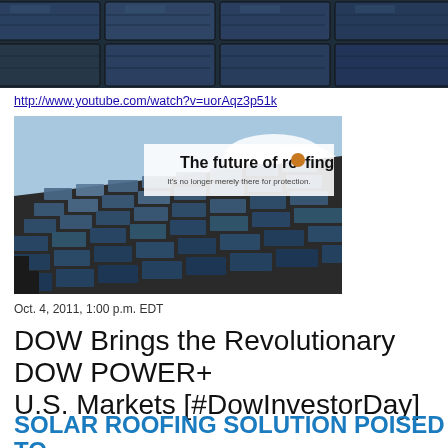[Figure (photo): Close-up of solar panel roofing tiles arranged in rows, dark blue with reflective surfaces]
http://www.youtube.com/watch?v=uorAqz3p51k
[Figure (photo): Solar roofing shingles on a house roof with text overlay reading 'The future of roofing - It's no longer merely there for protection.']
Oct. 4, 2011, 1:00 p.m. EDT
DOW Brings the Revolutionary DOW POWER+ U.S. Markets [#DowInvestorDay]
SOLAR ROOFING SOLUTION POISED TO